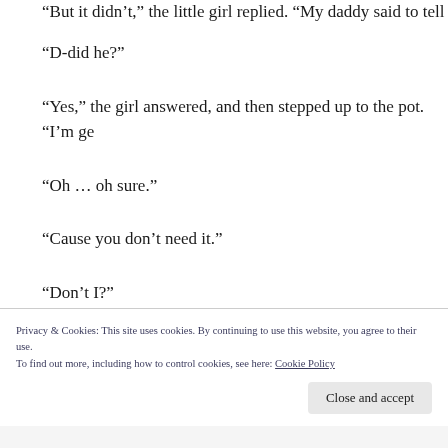“D-did he?”
“Yes,” the girl answered, and then stepped up to the pot. “I’m ge…
“Oh … oh sure.”
“Cause you don’t need it.”
“Don’t I?”
“No, you have your own,” she answered. “You said no matter h… never be as beautiful as the hands of its molder. Even though yo…
Privacy & Cookies: This site uses cookies. By continuing to use this website, you agree to their use.
To find out more, including how to control cookies, see here: Cookie Policy